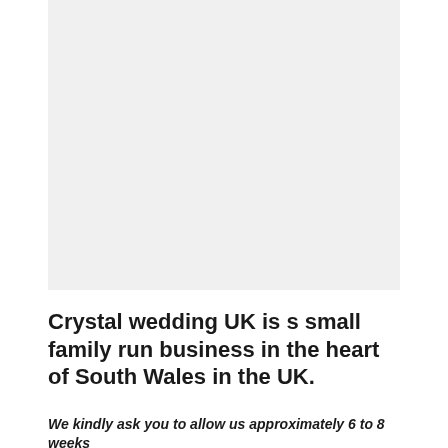[Figure (photo): Large light gray placeholder image area]
Crystal wedding UK is s small family run business in the heart of South Wales in the UK.
We kindly ask you to allow us approximately 6 to 8 weeks